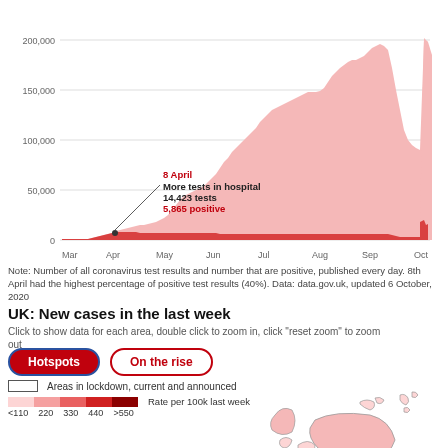[Figure (area-chart): Area chart showing number of all coronavirus test results (pink area) and number that are positive (red area) from March to October 2020. Values rise from near zero in March to around 200,000 by October. A callout marks 8 April: More tests in hospital, 14,423 tests, 5,865 positive.]
Note: Number of all coronavirus test results and number that are positive, published every day. 8th April had the highest percentage of positive test results (40%). Data: data.gov.uk, updated 6 October, 2020
UK: New cases in the last week
Click to show data for each area, double click to zoom in, click "reset zoom" to zoom out
Hotspots | On the rise
Areas in lockdown, current and announced
<110  220  330  440  >550  Rate per 100k last week
Reset zoom
[Figure (map): Map of UK showing new COVID-19 cases in the last week, with areas shaded by rate per 100k. Scotland visible at top with pink shading.]